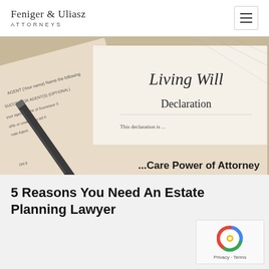Feniger & Uliasz ATTORNEYS
[Figure (photo): Sepia-toned photo of legal documents including a Living Will Declaration, a Care Power of Attorney, and a ballpoint pen resting on the papers]
5 Reasons You Need An Estate Planning Lawyer